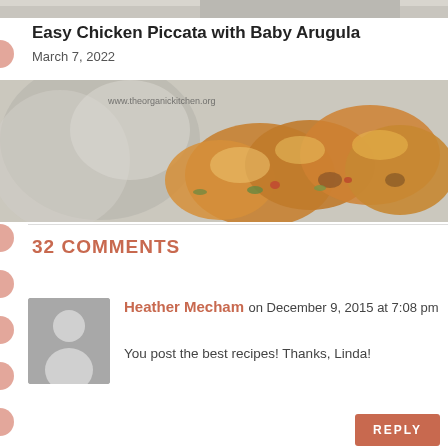[Figure (photo): Top strip of a food/kitchen photo partially visible at top of page]
Easy Chicken Piccata with Baby Arugula
March 7, 2022
[Figure (photo): Close-up photo of chicken piccata dish with vegetables, www.theorganickitchen.org watermark visible]
32 COMMENTS
Heather Mecham on December 9, 2015 at 7:08 pm
You post the best recipes! Thanks, Linda!